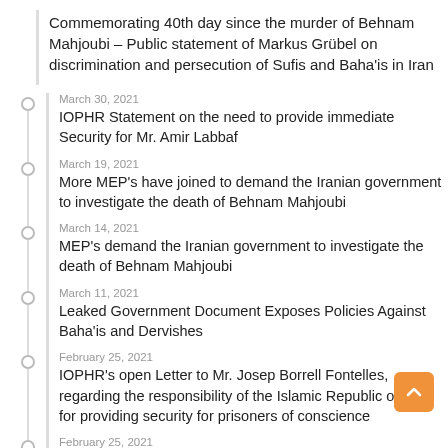Commemorating 40th day since the murder of Behnam Mahjoubi – Public statement of Markus Grübel on discrimination and persecution of Sufis and Baha'is in Iran
March 30, 2021
IOPHR Statement on the need to provide immediate Security for Mr. Amir Labbaf
March 19, 2021
More MEP's have joined to demand the Iranian government to investigate the death of Behnam Mahjoubi
March 14, 2021
MEP's demand the Iranian government to investigate the death of Behnam Mahjoubi
March 11, 2021
Leaked Government Document Exposes Policies Against Baha'is and Dervishes
February 25, 2021
IOPHR's open Letter to Mr. Josep Borrell Fontelles, regarding the responsibility of the Islamic Republic of Iran for providing security for prisoners of conscience
February 25, 2021